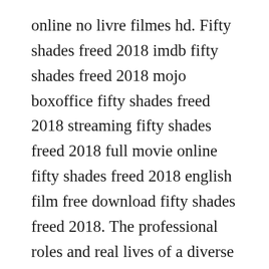online no livre filmes hd. Fifty shades freed 2018 imdb fifty shades freed 2018 mojo boxoffice fifty shades freed 2018 streaming fifty shades freed 2018 full movie online fifty shades freed 2018 english film free download fifty shades freed 2018. The professional roles and real lives of a diverse group of surgeons collide unexpectedly in greys anatomy is a hospital drama that focuses.
Europix hd full movies streaming popular tv series watch free hd europix. Services slay 50 shades of grey full beam under the file end